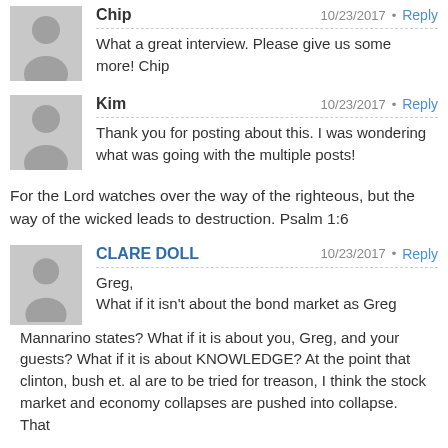Chip — 10/23/2017 · Reply
What a great interview. Please give us some more! Chip
Kim — 10/23/2017 · Reply
Thank you for posting about this. I was wondering what was going with the multiple posts!
For the Lord watches over the way of the righteous, but the way of the wicked leads to destruction. Psalm 1:6
CLARE DOLL — 10/23/2017 · Reply
Greg,
What if it isn't about the bond market as Greg Mannarino states? What if it is about you, Greg, and your guests? What if it is about KNOWLEDGE? At the point that clinton, bush et. al are to be tried for treason, I think the stock market and economy collapses are pushed into collapse. That